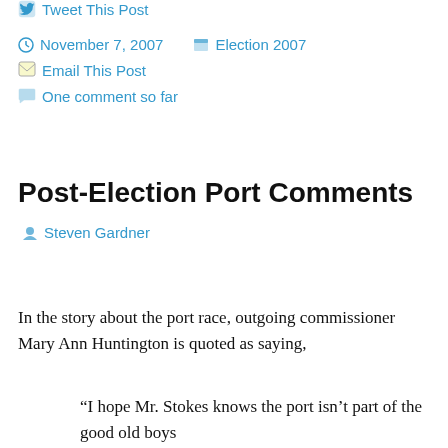Tweet This Post
November 7, 2007   Election 2007
Email This Post
One comment so far
Post-Election Port Comments
Steven Gardner
In the story about the port race, outgoing commissioner Mary Ann Huntington is quoted as saying,
“I hope Mr. Stokes knows the port isn’t part of the good old boys